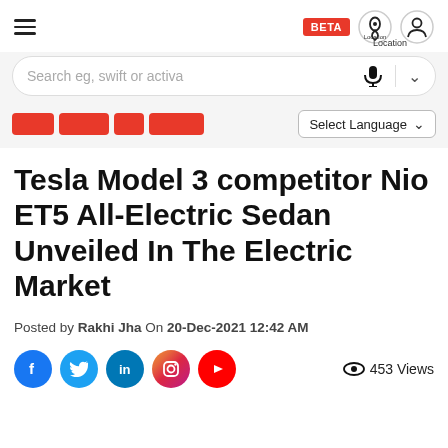BETA | Location | [hamburger menu] [location icon] [user icon]
Search eg, swift or activa
[Figure (other): Red category pill tabs (4 pills) and Select Language dropdown]
Tesla Model 3 competitor Nio ET5 All-Electric Sedan Unveiled In The Electric Market
Posted by Rakhi Jha On 20-Dec-2021 12:42 AM
[Figure (other): Social share icons: Facebook, Twitter, LinkedIn, Instagram, YouTube. And 453 Views counter.]